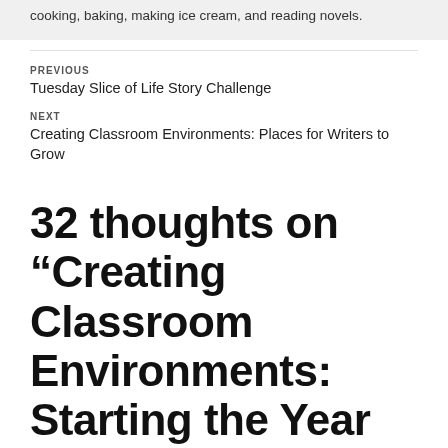cooking, baking, making ice cream, and reading novels.
PREVIOUS
Tuesday Slice of Life Story Challenge
NEXT
Creating Classroom Environments: Places for Writers to Grow
32 thoughts on “Creating Classroom Environments: Starting the Year with Empty Walls” ›
trishrich